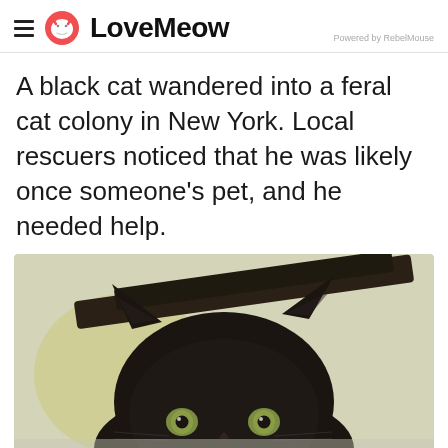LoveMeow — Powered by RebelMouse
A black cat wandered into a feral cat colony in New York. Local rescuers noticed that he was likely once someone's pet, and he needed help.
[Figure (photo): Close-up photo of a black cat with green/yellow eyes peering under a dark surface, with a pale yellow/cream background.]